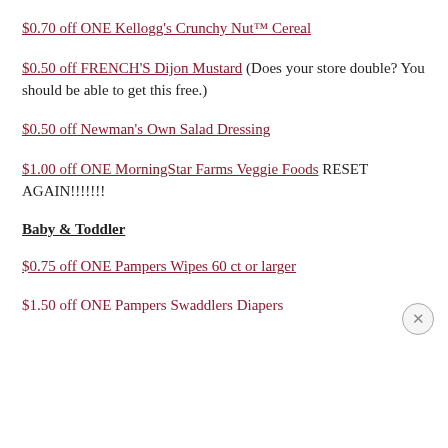$0.70 off ONE Kellogg’s Crunchy Nut™ Cereal
$0.50 off FRENCH’S Dijon Mustard (Does your store double? You should be able to get this free.)
$0.50 off Newman’s Own Salad Dressing
$1.00 off ONE MorningStar Farms Veggie Foods RESET AGAIN!!!!!!!
Baby & Toddler
$0.75 off ONE Pampers Wipes 60 ct or larger
$1.50 off ONE Pampers Swaddlers Diapers